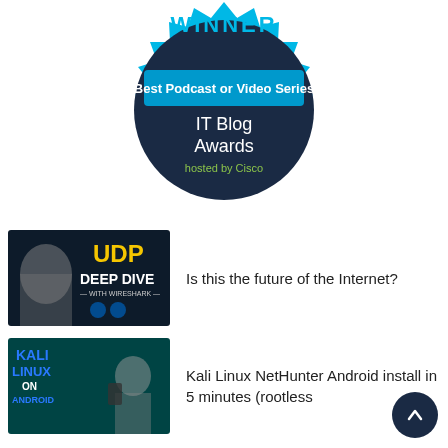[Figure (illustration): IT Blog Awards Winner badge — cyan starburst seal with dark navy circle. Text reads: WINNER (top, cyan), Best Podcast or Video Series (white bold), IT Blog Awards (white), hosted by Cisco (green/yellow small text).]
[Figure (photo): Thumbnail for 'UDP Deep Dive with Wireshark' — dark background with a man's face on the left, large yellow text 'UDP DEEP DIVE' and 'WITH WIRESHARK' in white, two laptop icons with Wireshark logo.]
Is this the future of the Internet?
[Figure (photo): Thumbnail for 'Kali Linux NetHunter Android install in 5 minutes (rootless)' — dark teal background with 'KALI LINUX ON ANDROID' text and a man with a surprised expression holding a phone.]
Kali Linux NetHunter Android install in 5 minutes (rootless)